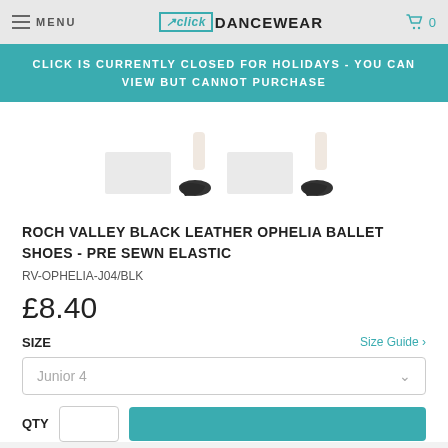MENU | click DANCEWEAR | Cart 0
CLICK IS CURRENTLY CLOSED FOR HOLIDAYS - YOU CAN VIEW BUT CANNOT PURCHASE
[Figure (photo): Four thumbnail images of black ballet shoes (Roch Valley Ophelia), some showing the shoe alone and some on a leg/foot, arranged in a row]
ROCH VALLEY BLACK LEATHER OPHELIA BALLET SHOES - PRE SEWN ELASTIC
RV-OPHELIA-J04/BLK
£8.40
SIZE
Size Guide >
Junior 4
QTY